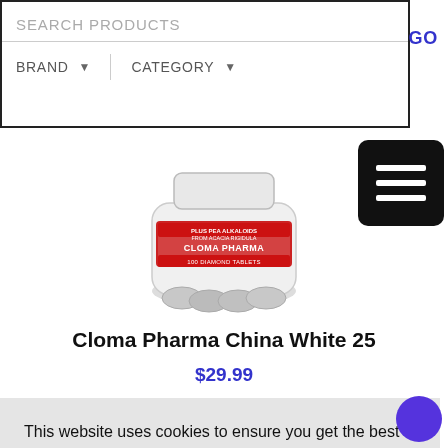SEARCH PRODUCTS | BRAND ▼ | CATEGORY ▼ | GO
[Figure (photo): Product image of Cloma Pharma China White 25 supplement bottle showing tablets, with red and white label]
Cloma Pharma China White 25
$29.99
This website uses cookies to ensure you get the best experience on our website. Learn more
Got it!